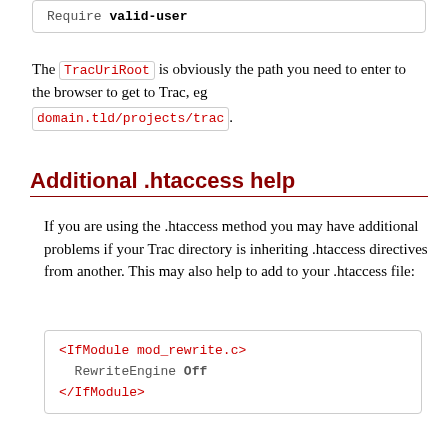Require valid-user
The TracUriRoot is obviously the path you need to enter to the browser to get to Trac, eg domain.tld/projects/trac.
Additional .htaccess help
If you are using the .htaccess method you may have additional problems if your Trac directory is inheriting .htaccess directives from another. This may also help to add to your .htaccess file:
<IfModule mod_rewrite.c>
  RewriteEngine Off
</IfModule>
Platform specific issues
Win32 Issues